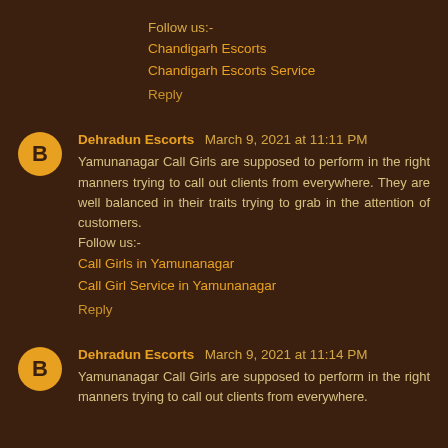Follow us:-
Chandigarh Escorts
Chandigarh Escorts Service
Reply
Dehradun Escorts  March 9, 2021 at 11:11 PM
Yamunanagar Call Girls are supposed to perform in the right manners trying to call out clients from everywhere. They are well balanced in their traits trying to grab in the attention of customers.
Follow us:-
Call Girls in Yamunanagar
Call Girl Service in Yamunanagar
Reply
Dehradun Escorts  March 9, 2021 at 11:14 PM
Yamunanagar Call Girls are supposed to perform in the right manners trying to call out clients from everywhere.